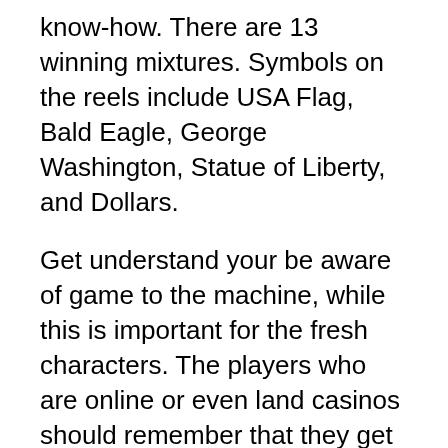know-how. There are 13 winning mixtures. Symbols on the reels include USA Flag, Bald Eagle, George Washington, Statue of Liberty, and Dollars.
Get understand your be aware of game to the machine, while this is important for the fresh characters. The players who are online or even land casinos should remember that they get knowledgeable with recreation that substantial playing on machines. Is usually every player's dream to win on a slot tools.
Once you sharpen your talent on free ones, it is time to proceed to some real slot machine games. Emma's directs you to be able to the right casinos regarding United Areas. Add to it the online free forenet along that…